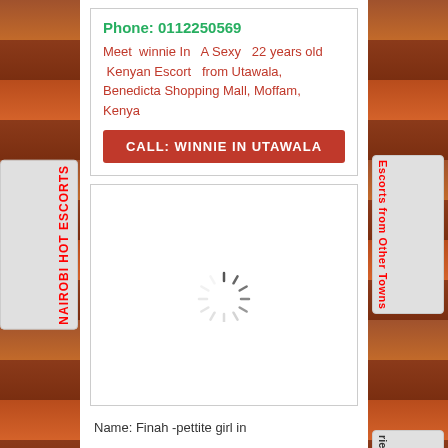NAIROBI HOT ESCORTS
Major Roads
Escorts from Other Towns
ries
Phone: 0112250569
Meet winnie In A Sexy 22 years old Kenyan Escort from Utawala, Benedicta Shopping Mall, Moffam, Kenya
CALL: WINNIE IN UTAWALA
[Figure (photo): Loading spinner / placeholder image area showing a circular loading indicator]
Name: Finah -pettite girl in